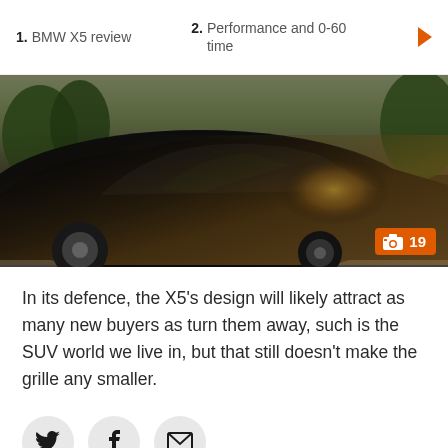1. BMW X5 review
2. Performance and 0-60 time
[Figure (photo): Black BMW X5 SUV driving on a road, front low-angle view, blurred background suggesting motion]
In its defence, the X5's design will likely attract as many new buyers as turn them away, such is the SUV world we live in, but that still doesn't make the grille any smaller.
[Figure (infographic): Social sharing icons: Twitter bird, Facebook f, Email envelope — each in a circular light grey button]